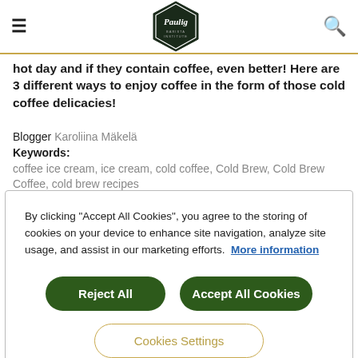[Figure (logo): Paulig Barista Institute logo in a hexagon shape]
hot day and if they contain coffee, even better! Here are 3 different ways to enjoy coffee in the form of those cold coffee delicacies!
Blogger Karoliina Mäkelä
Keywords:
coffee ice cream, ice cream, cold coffee, Cold Brew, Cold Brew Coffee, cold brew recipes
By clicking “Accept All Cookies”, you agree to the storing of cookies on your device to enhance site navigation, analyze site usage, and assist in our marketing efforts. More information
Reject All
Accept All Cookies
Cookies Settings